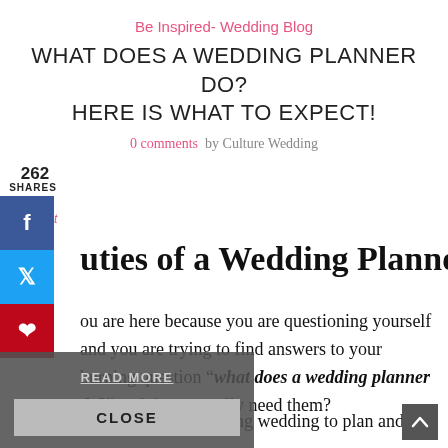Be Inspired- Wedding Blog
WHAT DOES A WEDDING PLANNER DO? HERE IS WHAT TO EXPECT!
0 comments   by Culture Wedding
262 SHARES
uties of a Wedding Planner
ou are here because you are questioning yourself and you are trying to find answers to your burning question “what does a wedding planner do?” and do you really need them?
READ MORE
CLOSE
so you have an amazing wedding to plan and a